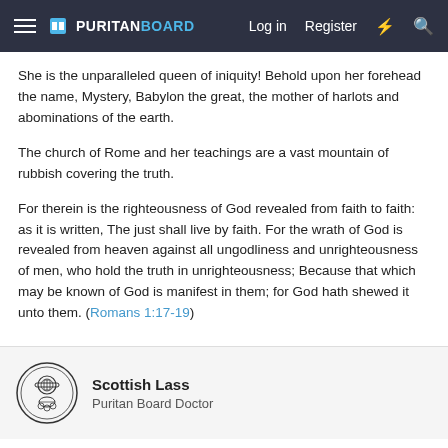PURITANBOARD  Log in  Register
She is the unparalleled queen of iniquity! Behold upon her forehead the name, Mystery, Babylon the great, the mother of harlots and abominations of the earth.
The church of Rome and her teachings are a vast mountain of rubbish covering the truth.
For therein is the righteousness of God revealed from faith to faith: as it is written, The just shall live by faith. For the wrath of God is revealed from heaven against all ungodliness and unrighteousness of men, who hold the truth in unrighteousness; Because that which may be known of God is manifest in them; for God hath shewed it unto them. (Romans 1:17-19)
Scottish Lass
Puritan Board Doctor